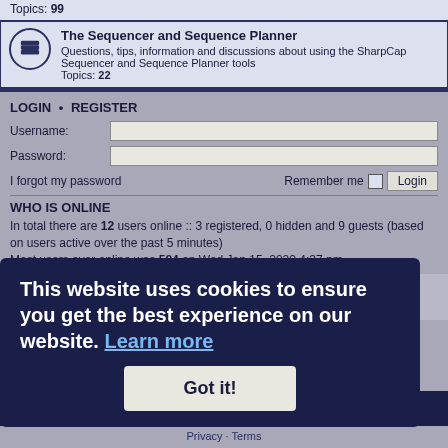Topics: 99
The Sequencer and Sequence Planner
Questions, tips, information and discussions about using the SharpCap Sequencer and Sequence Planner tools
Topics: 22
LOGIN • REGISTER
Username:
Password:
I forgot my password
Remember me
WHO IS ONLINE
In total there are 12 users online :: 3 registered, 0 hidden and 9 guests (based on users active over the past 5 minutes)
Most users ever online was 584 on Wed Jan 15, 2020 4:37 pm
STATISTICS
This website uses cookies to ensure you get the best experience on our website. Learn more
Got it!
SharpCap • Forums   Contact us   Delete cookies   All times are UTC
Privacy · Terms